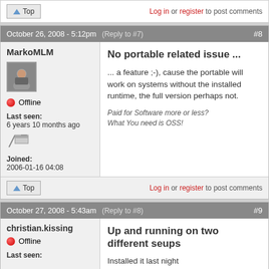Top | Log in or register to post comments
October 26, 2008 - 5:12pm (Reply to #7) #8
MarkoMLM
Offline
Last seen: 6 years 10 months ago
Joined: 2006-01-16 04:08
No portable related issue ...
... a feature ;-), cause the portable will work on systems without the installed runtime, the full version perhaps not.
Paid for Software more or less? What You need is OSS!
Top | Log in or register to post comments
October 27, 2008 - 5:43am (Reply to #8) #9
christian.kissing
Offline
Last seen:
Up and running on two different seups
Installed it last night